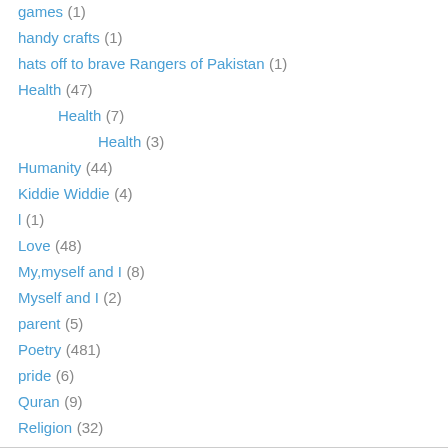games (1)
handy crafts (1)
hats off to brave Rangers of Pakistan (1)
Health (47)
Health (7)
Health (3)
Humanity (44)
Kiddie Widdie (4)
l (1)
Love (48)
My,myself and I (8)
Myself and I (2)
parent (5)
Poetry (481)
pride (6)
Quran (9)
Religion (32)
Urdu blogs (7)
Where's my Category? :[ (141)